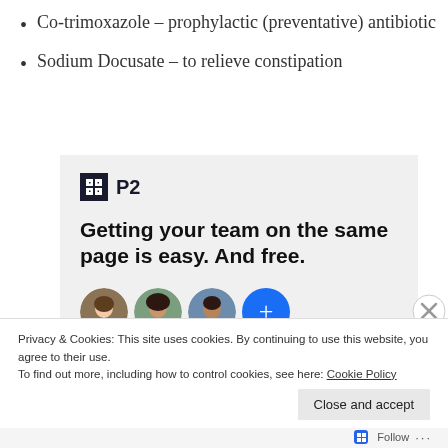Co-trimoxazole – prophylactic (preventative) antibiotic
Sodium Docusate – to relieve constipation
[Figure (screenshot): P2 advertisement: logo with dark square icon and 'P2' text, tagline 'Getting your team on the same page is easy. And free.' with three person avatars and a blue plus button]
Privacy & Cookies: This site uses cookies. By continuing to use this website, you agree to their use. To find out more, including how to control cookies, see here: Cookie Policy
Close and accept
Follow ...